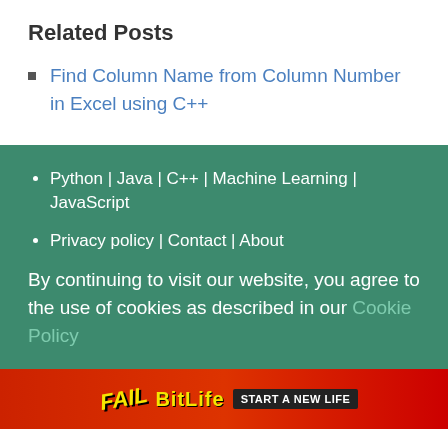Related Posts
Find Column Name from Column Number in Excel using C++
Python | Java | C++ | Machine Learning | JavaScript
Privacy policy | Contact | About
By continuing to visit our website, you agree to the use of cookies as described in our Cookie Policy
[Figure (photo): Advertisement banner for BitLife game with 'FAIL' text, cartoon character, flames, and 'START A NEW LIFE' call to action on red background]